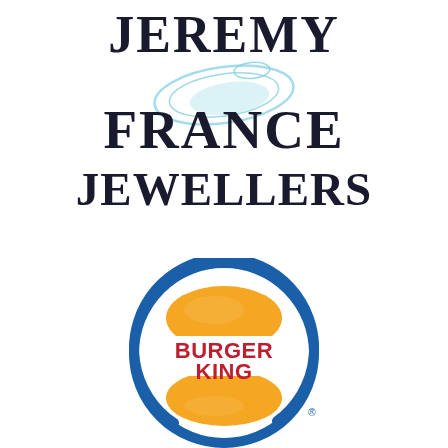[Figure (logo): Jeremy France Jewellers logo with stylized text and light blue orbital/ring graphic element between FRANCE and the other lines]
[Figure (logo): Burger King logo with blue circle border, orange bun halves on top and bottom, and bold red BURGER KING text in the center, with registered trademark symbol]